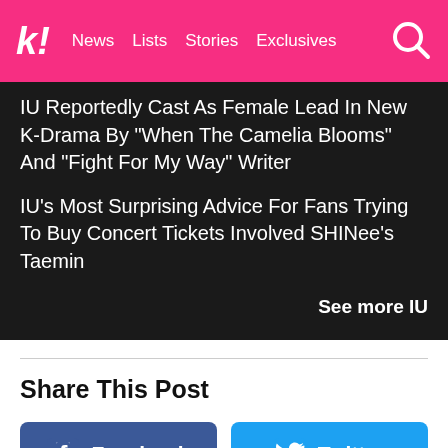k! News Lists Stories Exclusives
IU Reportedly Cast As Female Lead In New K-Drama By "When The Camelia Blooms" And "Fight For My Way" Writer
IU's Most Surprising Advice For Fans Trying To Buy Concert Tickets Involved SHINee's Taemin
See more IU
Share This Post
[Figure (other): Facebook share button]
[Figure (other): Twitter share button]